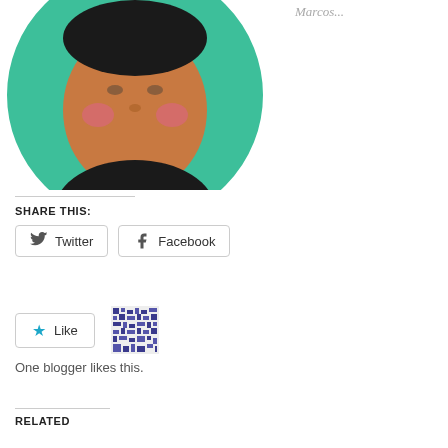[Figure (illustration): Circular avatar illustration of a person with dark hair, brown skin, rosy cheeks, wearing a black top, on a teal/green background]
Marcos...
SHARE THIS:
Twitter  Facebook
Like
One blogger likes this.
RELATED